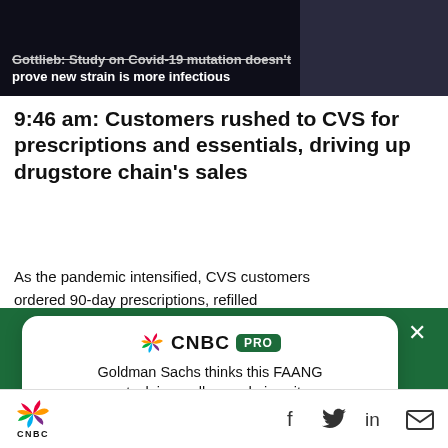[Figure (screenshot): Dark banner image with white bold text: 'Gottlieb: Study on Covid-19 mutation doesn't prove new strain is more infectious']
9:46 am: Customers rushed to CVS for prescriptions and essentials, driving up drugstore chain's sales
As the pandemic intensified, CVS customers ordered 90-day prescriptions, refilled
[Figure (screenshot): CNBC PRO advertisement overlay on dark green background. White rounded card with CNBC PRO logo, text: 'Goldman Sachs thinks this FAANG stock is a sell — and gives it downside of more than 20%', and a green 'SUBSCRIBE NOW' button. Close X button in top right.]
[Figure (logo): CNBC peacock logo and social media icons (Facebook, Twitter, LinkedIn, Email) in bottom navigation bar]